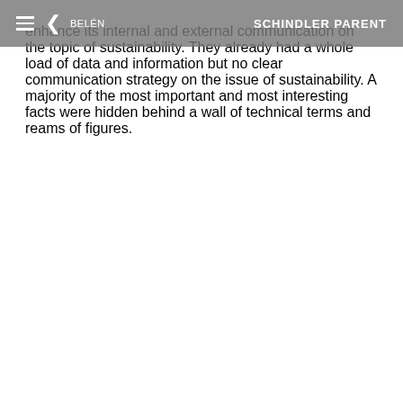BELÉN | SCHINDLER PARENT
enhance its internal and external communication on the topic of sustainability. They already had a whole load of data and information but no clear communication strategy on the issue of sustainability. A majority of the most important and most interesting facts were hidden behind a wall of technical terms and reams of figures.